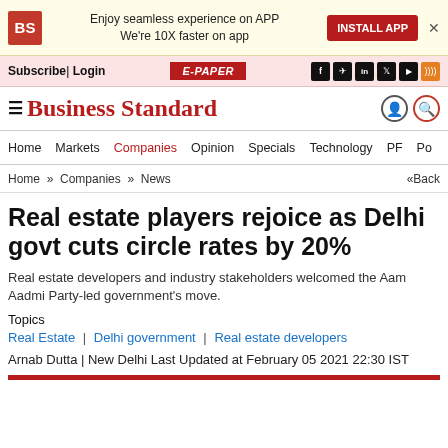BS logo | Enjoy seamless experience on APP We're 10X faster on app | INSTALL APP
Subscribe| Login  E-PAPER  [social icons: f, telegram, in, twitter, youtube, rss]
Business Standard
Home  Markets  Companies  Opinion  Specials  Technology  PF  Po...
Home » Companies » News  «Back
Real estate players rejoice as Delhi govt cuts circle rates by 20%
Real estate developers and industry stakeholders welcomed the Aam Aadmi Party-led government's move.
Topics
Real Estate  | Delhi government | Real estate developers
Arnab Dutta | New Delhi Last Updated at February 05 2021 22:30 IST